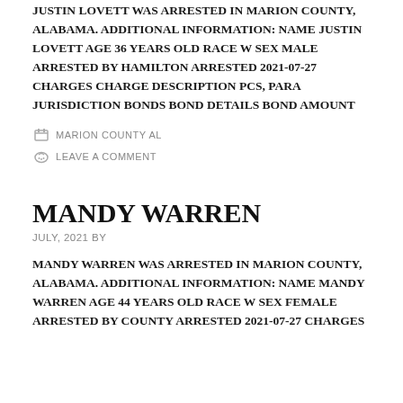JUSTIN LOVETT WAS ARRESTED IN MARION COUNTY, ALABAMA. ADDITIONAL INFORMATION: NAME JUSTIN LOVETT AGE 36 YEARS OLD RACE W SEX MALE ARRESTED BY HAMILTON ARRESTED 2021-07-27 CHARGES CHARGE DESCRIPTION PCS, PARA JURISDICTION BONDS BOND DETAILS BOND AMOUNT
MARION COUNTY AL
LEAVE A COMMENT
MANDY WARREN
JULY, 2021 BY
MANDY WARREN WAS ARRESTED IN MARION COUNTY, ALABAMA. ADDITIONAL INFORMATION: NAME MANDY WARREN AGE 44 YEARS OLD RACE W SEX FEMALE ARRESTED BY COUNTY ARRESTED 2021-07-27 CHARGES